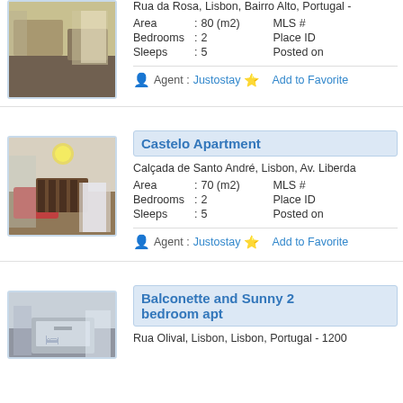[Figure (photo): Interior photo of a living room with sofas and large windows, Rua da Rosa listing]
Rua da Rosa, Lisbon, Bairro Alto, Portugal -
Area : 80 (m2)   MLS #
Bedrooms : 2   Place ID
Sleeps : 5   Posted on
Agent : Justostay  ★ Add to Favorite
[Figure (photo): Interior photo of a dining room with red sofa and dining table, Castelo Apartment listing]
Castelo Apartment
Calçada de Santo André, Lisbon, Av. Liberda
Area : 70 (m2)   MLS #
Bedrooms : 2   Place ID
Sleeps : 5   Posted on
Agent : Justostay  ★ Add to Favorite
[Figure (photo): Interior photo of a bedroom, Balconette and Sunny 2 bedroom apt listing]
Balconette and Sunny 2 bedroom apt
Rua Olival, Lisbon, Lisbon, Portugal - 1200